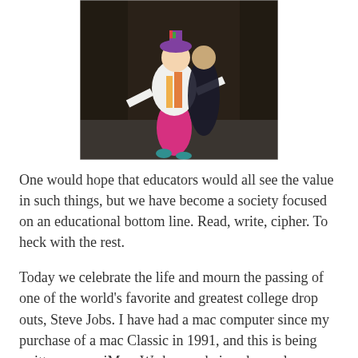[Figure (photo): A child dressed as a colorful clown in pink and yellow costume with purple hat, standing outdoors at night with another child in dark costume behind them.]
One would hope that educators would all see the value in such things, but we have become a society focused on an educational bottom line. Read, write, cipher. To heck with the rest.
Today we celebrate the life and mourn the passing of one of the world's favorite and greatest college drop outs, Steve Jobs. I have had a mac computer since my purchase of a mac Classic in 1991, and this is being written on my iMac. We human beings have always been connected with each other in such profound ways and the computer has made these connections far more apparent. Steve Jobs is alive still within this keyboard, and in the continued connection you